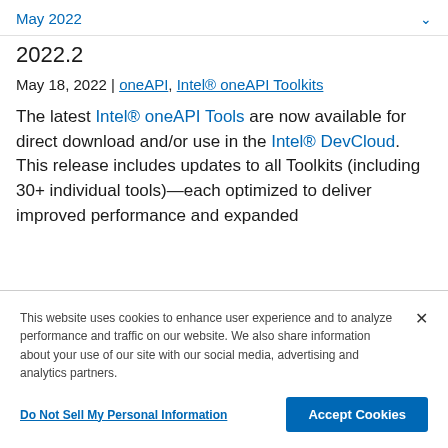May 2022
2022.2
May 18, 2022 | oneAPI, Intel® oneAPI Toolkits
The latest Intel® oneAPI Tools are now available for direct download and/or use in the Intel® DevCloud. This release includes updates to all Toolkits (including 30+ individual tools)—each optimized to deliver improved performance and expanded
This website uses cookies to enhance user experience and to analyze performance and traffic on our website. We also share information about your use of our site with our social media, advertising and analytics partners.
Do Not Sell My Personal Information
Accept Cookies